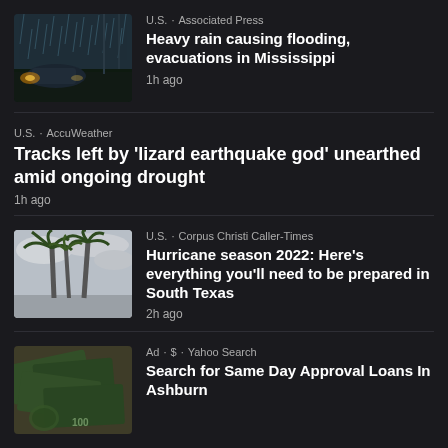[Figure (photo): Car driving through heavy rain flooding at night, headlights visible]
U.S. · Associated Press
Heavy rain causing flooding, evacuations in Mississippi
1h ago
U.S. · AccuWeather
Tracks left by 'lizard earthquake god' unearthed amid ongoing drought
1h ago
[Figure (photo): Palm trees against a grey overcast sky]
U.S. · Corpus Christi Caller-Times
Hurricane season 2022: Here's everything you'll need to be prepared in South Texas
2h ago
[Figure (photo): US dollar bills spread out]
Ad · $ · Yahoo Search
Search for Same Day Approval Loans In Ashburn